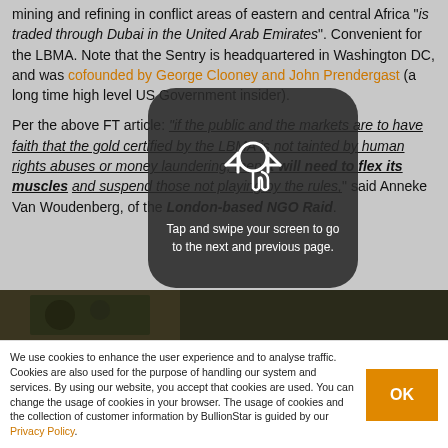mining and refining in conflict areas of eastern and central Africa "is traded through Dubai in the United Arab Emirates". Convenient for the LBMA. Note that the Sentry is headquartered in Washington DC, and was cofounded by George Clooney and John Prendergast (a long time high level US Government insider).
Per the above FT article: "if the public and the markets are to have faith that the gold certified by the LBMA is not tainted by human rights abuses or money laundering, then it will need to flex its muscles and suspend those not playing by the rules," said Anneke Van Woudenberg, of the London-based NGO Raid.
[Figure (photo): Dark image strip showing a partial outdoor photo]
We use cookies to enhance the user experience and to analyse traffic. Cookies are also used for the purpose of handling our system and services. By using our website, you accept that cookies are used. You can change the usage of cookies in your browser. The usage of cookies and the collection of customer information by BullionStar is guided by our Privacy Policy.